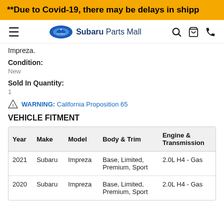**Due to Covid-19, there may be delays in shipp
[Figure (logo): Subaru Parts Mall navigation bar with hamburger menu, Subaru oval logo, site name, search, cart, and phone icons]
Impreza.
Condition:
New
Sold In Quantity:
1
WARNING: California Proposition 65
VEHICLE FITMENT
| Year | Make | Model | Body & Trim | Engine & Transmission |
| --- | --- | --- | --- | --- |
| 2021 | Subaru | Impreza | Base, Limited, Premium, Sport | 2.0L H4 - Gas |
| 2020 | Subaru | Impreza | Base, Limited, Premium, Sport | 2.0L H4 - Gas |